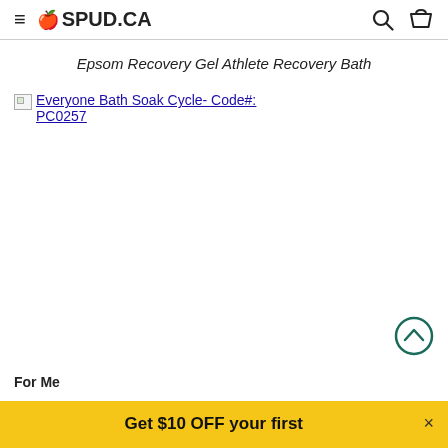≡ 🍎SPUD.CA
Epsom Recovery Gel Athlete Recovery Bath
[Figure (photo): Broken image placeholder with link text: Everyone Bath Soak Cycle- Code#: PC0257]
Everyone Bath Soak: Cycle
For Me
Get $10 OFF your first